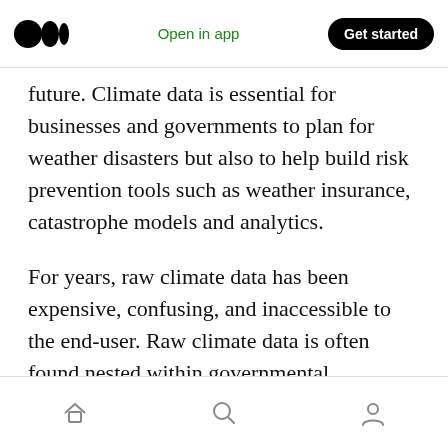Open in app | Get started
future. Climate data is essential for businesses and governments to plan for weather disasters but also to help build risk prevention tools such as weather insurance, catastrophe models and analytics.
For years, raw climate data has been expensive, confusing, and inaccessible to the end-user. Raw climate data is often found nested within governmental organizations, academia or weather stations in airports. These raw data are eventually released to the public via endpoints
Home | Search | Profile